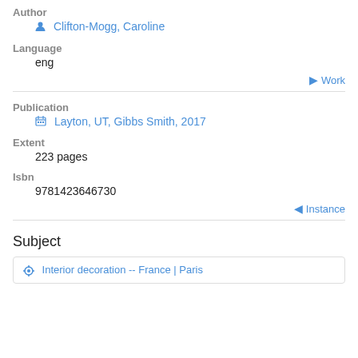Author
Clifton-Mogg, Caroline
Language
eng
Work
Publication
Layton, UT, Gibbs Smith, 2017
Extent
223 pages
Isbn
9781423646730
Instance
Subject
Interior decoration -- France | Paris